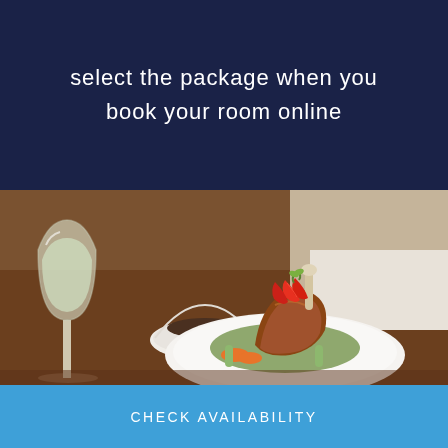select the package when you book your room online
[Figure (photo): A plated dish of braised meat (lamb shank) garnished with red chili strips and fresh herbs, served on mashed potatoes with vegetables including carrots and leeks, on a white plate. A wine glass with white wine and a gravy boat are visible in the background on a wooden table in a restaurant setting.]
CHECK AVAILABILITY